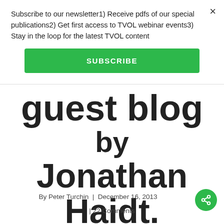Subscribe to our newsletter1) Receive pdfs of our special publications2) Get first access to TVOL webinar events3) Stay in the loop for the latest TVOL content
SUBSCRIBE
guest blog by Jonathan Haidt.
By Peter Turchin | December 16, 2013
| 22 Comments